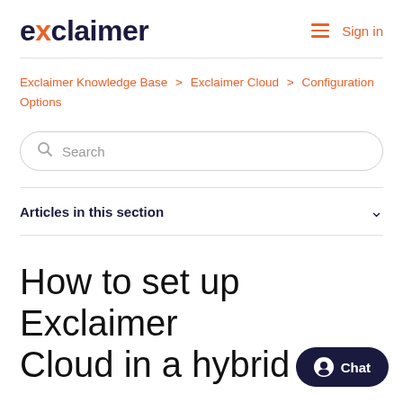exclaimer | Sign in
Exclaimer Knowledge Base > Exclaimer Cloud > Configuration Options
Search
Articles in this section
How to set up Exclaimer Cloud in a hybrid